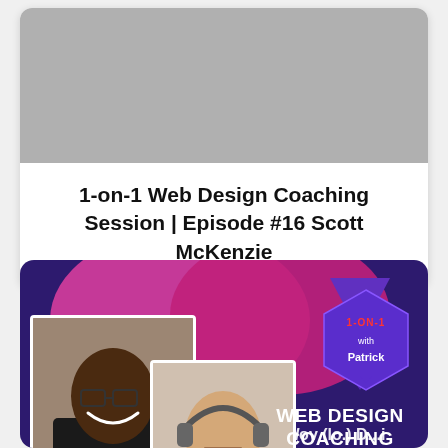[Figure (screenshot): Gray video placeholder thumbnail at top of card]
1-on-1 Web Design Coaching Session | Episode #16 Scott McKenzie
[Figure (photo): Promotional image with dark purple/blue background showing two people (one Black man smiling, one white man with headphones), pink/magenta blob shapes, a triangular badge reading '1-ON-1 with Patrick', and text 'WEB DESIGN COACHING SESSION WITH' followed by partial text below]